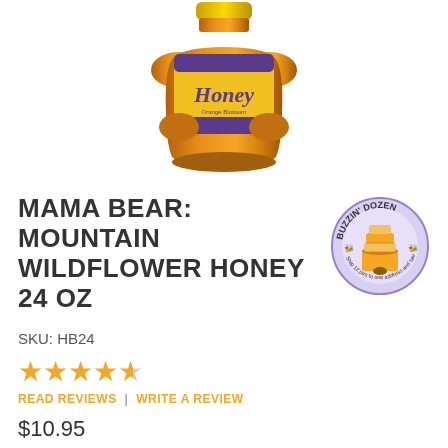[Figure (photo): Honey bottle product photo - Honeyville Mama Bear Mountain Wildflower Honey 24 oz, amber colored plastic bear-shaped squeeze bottle with purple and yellow label reading 'Honey']
MAMA BEAR: MOUNTAIN WILDFLOWER HONEY 24 OZ
[Figure (logo): Buzzin' Dozen circular logo with beehive graphic, text reading 'BUZZIN' DOZEN' and 'Ship 12 jars to one address and save!']
SKU: HB24
[Figure (other): 4.5 star rating shown with yellow star icons]
READ REVIEWS | WRITE A REVIEW
$10.95